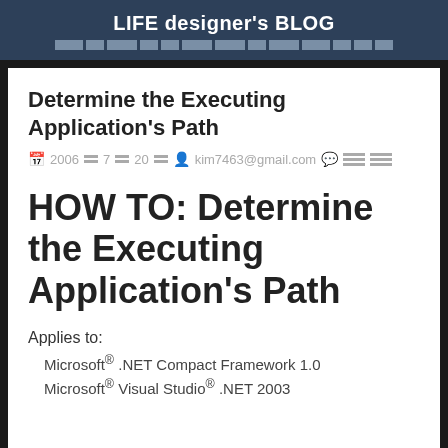LIFE designer's BLOG
Determine the Executing Application's Path
2006 7 20  kim7463@gmail.com
HOW TO: Determine the Executing Application's Path
Applies to:
Microsoft® .NET Compact Framework 1.0
Microsoft® Visual Studio® .NET 2003